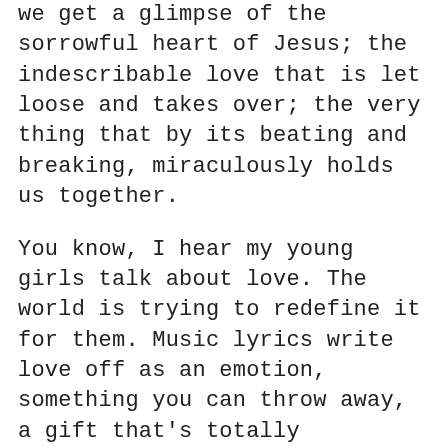we get a glimpse of the sorrowful heart of Jesus; the indescribable love that is let loose and takes over; the very thing that by its beating and breaking, miraculously holds us together.
You know, I hear my young girls talk about love. The world is trying to redefine it for them. Music lyrics write love off as an emotion, something you can throw away, a gift that's totally dependent on your looks and body. Social media wants them to believe that without a boyfriend, they are undesirable, alone, never complete. And they chase after this secular love...this lie...and they believe that